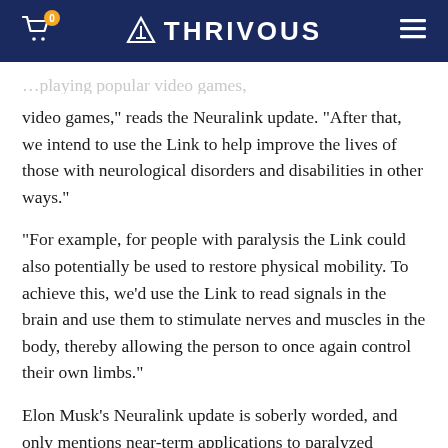THRIVOUS
video games,” reads the Neuralink update. “After that, we intend to use the Link to help improve the lives of those with neurological disorders and disabilities in other ways.”
“For example, for people with paralysis the Link could also potentially be used to restore physical mobility. To achieve this, we’d use the Link to read signals in the brain and use them to stimulate nerves and muscles in the body, thereby allowing the person to once again control their own limbs.”
Elon Musk’s Neuralink update is soberly worded, and only mentions near-term applications to paralyzed patients. But it’s easy to see that, besides medical